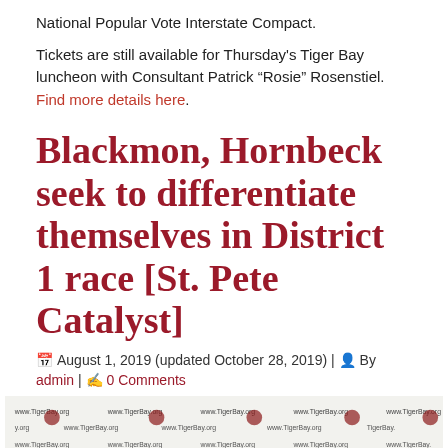National Popular Vote Interstate Compact.
Tickets are still available for Thursday's Tiger Bay luncheon with Consultant Patrick "Rosie" Rosenstiel. Find more details here.
Blackmon, Hornbeck seek to differentiate themselves in District 1 race [St. Pete Catalyst]
August 1, 2019 (updated October 28, 2019) | By admin | 0 Comments
[Figure (photo): Photo strip showing two people at a Tiger Bay event backdrop with www.TigerBay.org logos repeated across a white banner background]